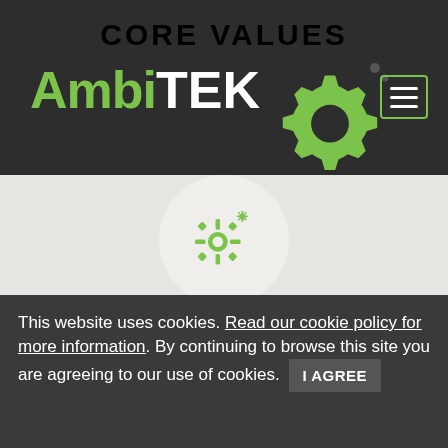CORE VALUES
[Figure (logo): AmbiTEK logo with green gear icon]
[Figure (illustration): Circular icon with gear/settings symbol in green on light circle background]
Taking OWNERSHIP and full ACCOUNTABILITY of our actions
[Figure (illustration): Circular icon with smiley face in green on light circle background]
This website uses cookies. Read our cookie policy for more information. By continuing to browse this site you are agreeing to our use of cookies. I AGREE